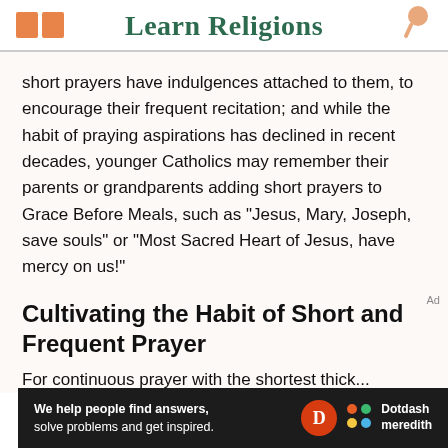Learn Religions
short prayers have indulgences attached to them, to encourage their frequent recitation; and while the habit of praying aspirations has declined in recent decades, younger Catholics may remember their parents or grandparents adding short prayers to Grace Before Meals, such as "Jesus, Mary, Joseph, save souls" or "Most Sacred Heart of Jesus, have mercy on us!"
Cultivating the Habit of Short and Frequent Prayer
[Figure (other): Dotdash Meredith advertisement banner: 'We help people find answers, solve problems and get inspired.']